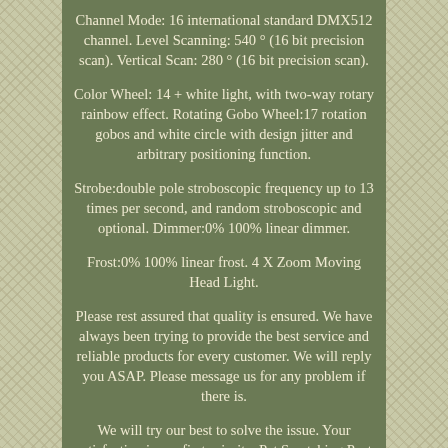Channel Mode: 16 international standard DMX512 channel. Level Scanning: 540 ° (16 bit precision scan). Vertical Scan: 280 ° (16 bit precision scan).
Color Wheel: 14 + white light, with two-way rotary rainbow effect. Rotating Gobo Wheel:17 rotation gobos and white circle with design jitter and arbitrary positioning function.
Strobe:double pole stroboscopic frequency up to 13 times per second, and random stroboscopic and optional. Dimmer:0% 100% linear dimmer.
Frost:0% 100% linear frost. 4 X Zoom Moving Head Light.
Please rest assured that quality is ensured. We have always been trying to provide the best service and reliable products for every customer. We will reply you ASAP. Please message us for any problem if there is.
We will try our best to solve the issue. Your satisfaction is our first priority. Pet Scratching Post Cat Tree Climbing Kitten Toy Activity Centre Scratch Tower. LED RGB UV Stage Lights Sound Active Disco Party